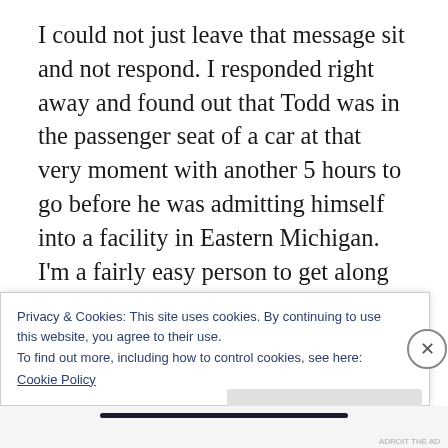I could not just leave that message sit and not respond. I responded right away and found out that Todd was in the passenger seat of a car at that very moment with another 5 hours to go before he was admitting himself into a facility in Eastern Michigan. I'm a fairly easy person to get along with so we naturally started a conversation on the topic that fate joined us together with. I then asked the burning question if he'd want to tell his story. With actual enthusiasm he obliged and had the same
Privacy & Cookies: This site uses cookies. By continuing to use this website, you agree to their use.
To find out more, including how to control cookies, see here:
Cookie Policy